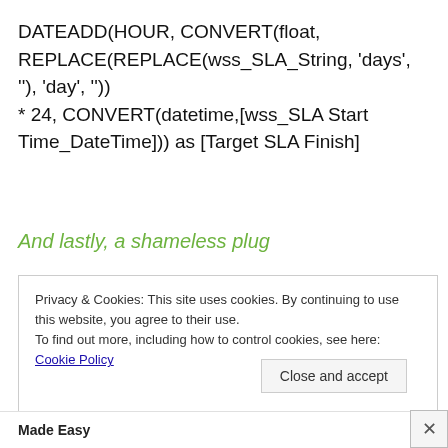And lastly, a shameless plug
Privacy & Cookies: This site uses cookies. By continuing to use this website, you agree to their use.
To find out more, including how to control cookies, see here: Cookie Policy
Close and accept
Made Easy